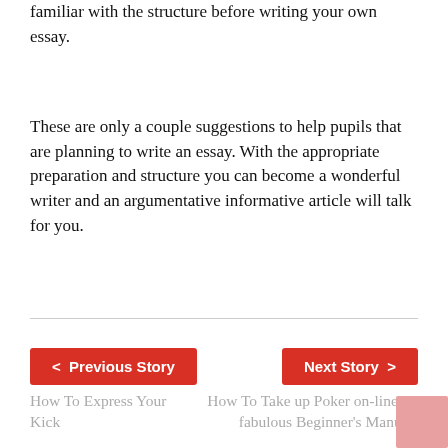familiar with the structure before writing your own essay.
These are only a couple suggestions to help pupils that are planning to write an essay. With the appropriate preparation and structure you can become a wonderful writer and an argumentative informative article will talk for you.
< Previous Story
Next Story >
How To Express Your Kick
How To Take up Poker on-line (A fabulous Beginner's Manual)